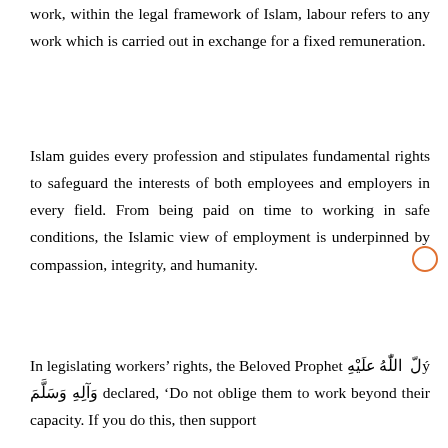work, within the legal framework of Islam, labour refers to any work which is carried out in exchange for a fixed remuneration.
Islam guides every profession and stipulates fundamental rights to safeguard the interests of both employees and employers in every field. From being paid on time to working in safe conditions, the Islamic view of employment is underpinned by compassion, integrity, and humanity.
In legislating workers' rights, the Beloved Prophet ﷺ اللَّهُ عَلَيْهِ وَآلِهِ وَسَلَّمَ declared, 'Do not oblige them to work beyond their capacity. If you do this, then support